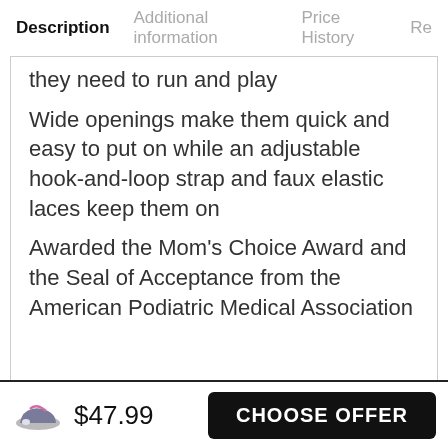Description | Additional information | Price History | Re
they need to run and play
Wide openings make them quick and easy to put on while an adjustable hook-and-loop strap and faux elastic laces keep them on
Awarded the Mom's Choice Award and the Seal of Acceptance from the American Podiatric Medical Association
$47.99
CHOOSE OFFER